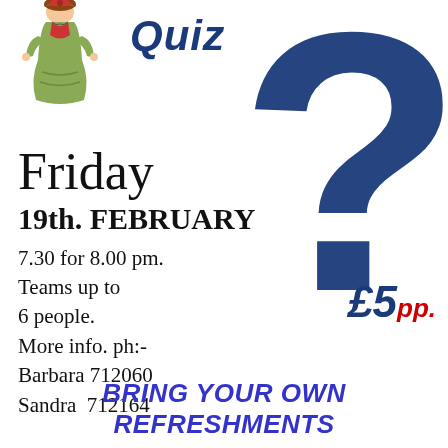[Figure (illustration): Illustration of a person in traditional/period dress at top left corner]
Quiz
Friday
19th. FEBRUARY
7.30 for 8.00 pm.
Teams up to 6 people.
More info. ph:-
Barbara 712060
Sandra  712164
£5pp.
BRING YOUR OWN REFRESHMENTS